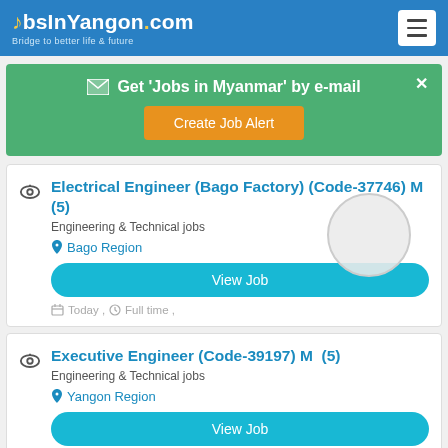JobsInYangon.com — Bridge to better life & future
Get 'Jobs in Myanmar' by e-mail
Create Job Alert
Electrical Engineer (Bago Factory) (Code-37746) M  (5)
Engineering & Technical jobs
Bago Region
View Job
Today ,  Full time ,
Executive Engineer (Code-39197) M  (5)
Engineering & Technical jobs
Yangon Region
View Job